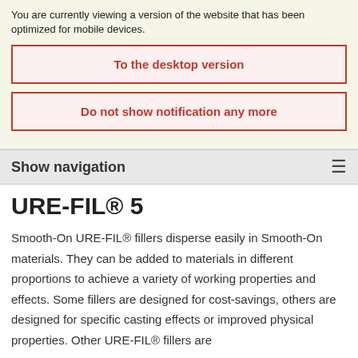You are currently viewing a version of the website that has been optimized for mobile devices.
To the desktop version
Do not show notification any more
Show navigation
URE-FIL® 5
Smooth-On URE-FIL® fillers disperse easily in Smooth-On materials. They can be added to materials in different proportions to achieve a variety of working properties and effects. Some fillers are designed for cost-savings, others are designed for specific casting effects or improved physical properties. Other URE-FIL® fillers are